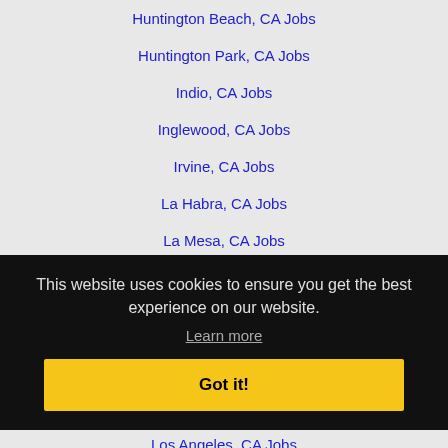Huntington Beach, CA Jobs
Huntington Park, CA Jobs
Indio, CA Jobs
Inglewood, CA Jobs
Irvine, CA Jobs
La Habra, CA Jobs
La Mesa, CA Jobs
La Mirada, CA Jobs
La Puente, CA Jobs
This website uses cookies to ensure you get the best experience on our website.
Learn more
Got it!
Los Angeles, CA Jobs